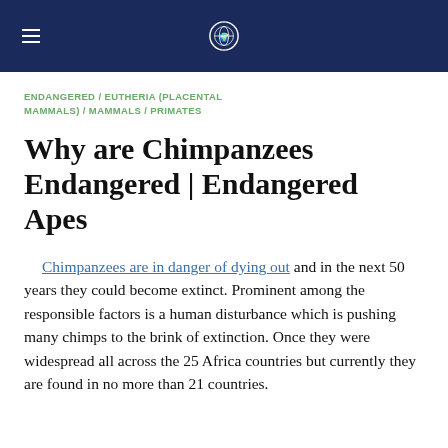ENDANGERED / EUTHERIA (PLACENTAL MAMMALS) / MAMMALS / PRIMATES
Why are Chimpanzees Endangered | Endangered Apes
Chimpanzees are in danger of dying out and in the next 50 years they could become extinct. Prominent among the responsible factors is a human disturbance which is pushing many chimps to the brink of extinction. Once they were widespread all across the 25 Africa countries but currently they are found in no more than 21 countries.